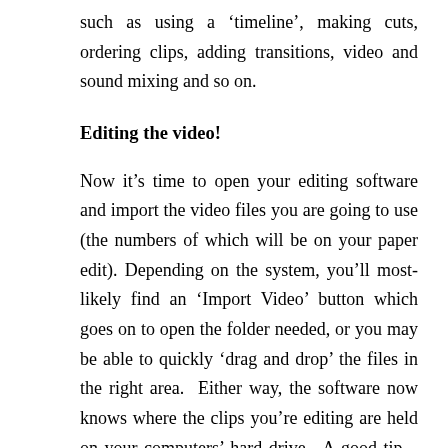such as using a 'timeline', making cuts, ordering clips, adding transitions, video and sound mixing and so on.
Editing the video!
Now it's time to open your editing software and import the video files you are going to use (the numbers of which will be on your paper edit). Depending on the system, you'll most-likely find an 'Import Video' button which goes on to open the folder needed, or you may be able to quickly 'drag and drop' the files in the right area.  Either way, the software now knows where the clips you're editing are held on your computers' hard drive.  A good tip – don't move these files once you begin an editing project, if